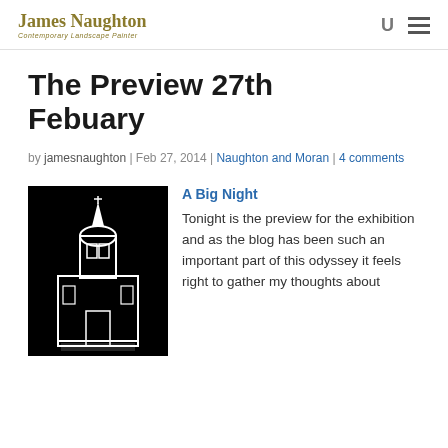James Naughton | Contemporary Landscape Painter
The Preview 27th Febuary
by jamesnaughton | Feb 27, 2014 | Naughton and Moran | 4 comments
[Figure (illustration): Black and white graphic illustration of a church or cathedral building with a dome/tower, high contrast black background with white line art]
A Big Night
Tonight is the preview for the exhibition and as the blog has been such an important part of this odyssey it feels right to gather my thoughts about